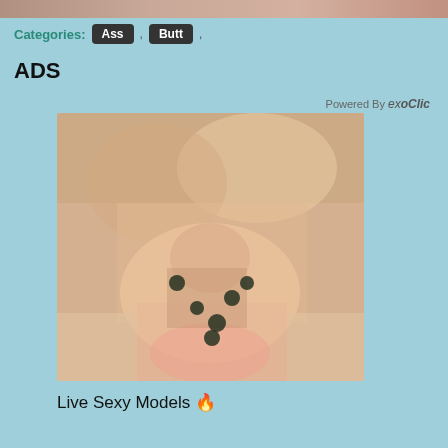[Figure (photo): Top strip showing partial image at top of page]
Categories: Ass , Butt ,
ADS
Powered By exoClic
[Figure (photo): Adult content advertisement photo showing a person]
Live Sexy Models 🔥